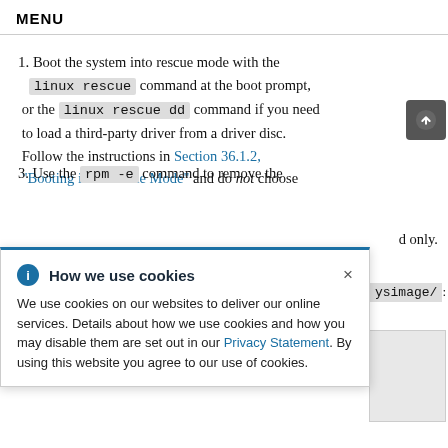MENU
1. Boot the system into rescue mode with the linux rescue command at the boot prompt, or the linux rescue dd command if you need to load a third-party driver from a driver disc. Follow the instructions in Section 36.1.2, "Booting into Rescue Mode" and do not choose [continued] d only.
[Figure (screenshot): Cookie consent popup overlay reading 'How we use cookies' with info icon, close button, and text about cookie usage with Privacy Statement link. Background shows partial content with /ysimage/ code snippet visible and a gray box. A scroll-up button appears in lower right.]
3. Use the rpm -e command to remove the